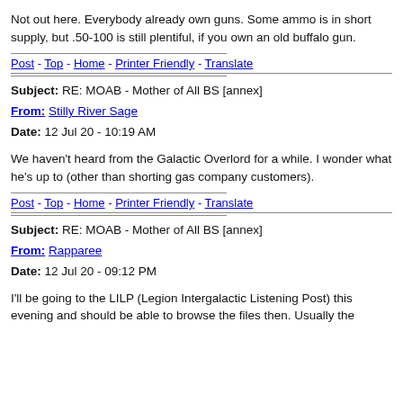Not out here. Everybody already own guns. Some ammo is in short supply, but .50-100 is still plentiful, if you own an old buffalo gun.
Post - Top - Home - Printer Friendly - Translate
Subject: RE: MOAB - Mother of All BS [annex]
From: Stilly River Sage
Date: 12 Jul 20 - 10:19 AM
We haven't heard from the Galactic Overlord for a while. I wonder what he's up to (other than shorting gas company customers).
Post - Top - Home - Printer Friendly - Translate
Subject: RE: MOAB - Mother of All BS [annex]
From: Rapparee
Date: 12 Jul 20 - 09:12 PM
I'll be going to the LILP (Legion Intergalactic Listening Post) this evening and should be able to browse the files then. Usually the